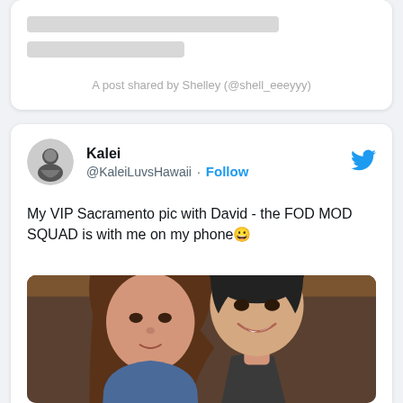[Figure (screenshot): Instagram post placeholder with two gray loading bars]
A post shared by Shelley (@shell_eeeyyy)
[Figure (screenshot): Twitter post by Kalei (@KaleiLuvsHawaii) with Follow button and photo of two people smiling. Tweet text: My VIP Sacramento pic with David - the FOD MOD SQUAD is with me on my phone 😀]